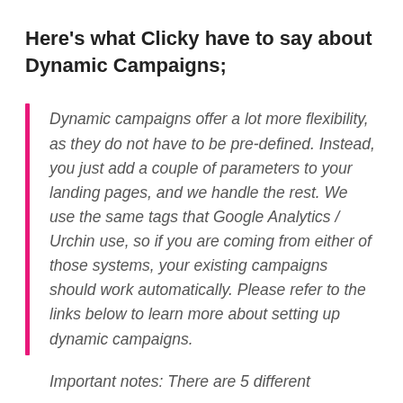Here's what Clicky have to say about Dynamic Campaigns;
Dynamic campaigns offer a lot more flexibility, as they do not have to be pre-defined. Instead, you just add a couple of parameters to your landing pages, and we handle the rest. We use the same tags that Google Analytics / Urchin use, so if you are coming from either of those systems, your existing campaigns should work automatically. Please refer to the links below to learn more about setting up dynamic campaigns.
Important notes: There are 5 different